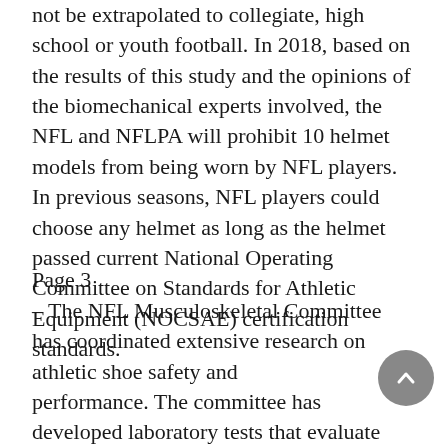not be extrapolated to collegiate, high school or youth football. In 2018, based on the results of this study and the opinions of the biomechanical experts involved, the NFL and NFLPA will prohibit 10 helmet models from being worn by NFL players. In previous seasons, NFL players could choose any helmet as long as the helmet passed current National Operating Committee on Standards for Athletic Equipment (NOCSAE) certification standards.
Page 3
– The NFL Musculoskeletal Committee has coordinated extensive research on athletic shoe safety and performance. The committee has developed laboratory tests that evaluate which cleats best permit release from synthetic turf during potentially injurious loading. The results of those